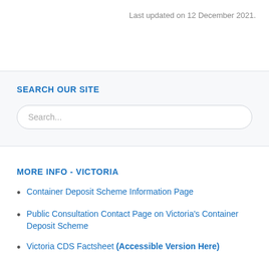Last updated on 12 December 2021.
SEARCH OUR SITE
Search...
MORE INFO - VICTORIA
Container Deposit Scheme Information Page
Public Consultation Contact Page on Victoria's Container Deposit Scheme
Victoria CDS Factsheet (Accessible Version Here)